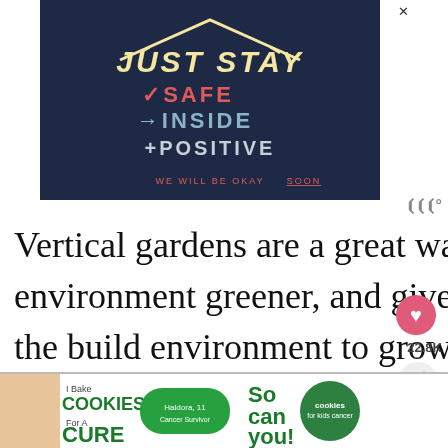[Figure (illustration): Advertisement banner with dark navy blue background showing handwritten-style text: 'JUST STAY' at top with house roof lines, then 'vSAFE' in red, '+INSIDE' in light blue, '+POSITIVE' in grey/white, and 'WE WILL BE OKAY SOON' underlined in red at bottom.]
Vertical gardens are a great way to make your environment greener, and give back more of the build environment to growing plants. T is not only good for people, it can be great for w
[Figure (illustration): Bottom advertisement banner: 'I Bake COOKIES For A CURE' with image of a girl and 'So can you!' text and cookies for kids cancer logo.]